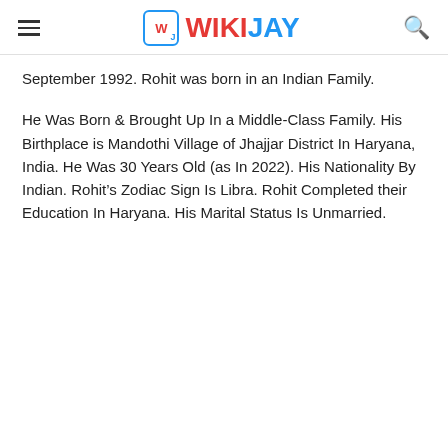WIKIJAY
September 1992. Rohit was born in an Indian Family.
He Was Born & Brought Up In a Middle-Class Family. His Birthplace is Mandothi Village of Jhajjar District In Haryana, India. He Was 30 Years Old (as In 2022). His Nationality By Indian. Rohit’s Zodiac Sign Is Libra. Rohit Completed their Education In Haryana. His Marital Status Is Unmarried.